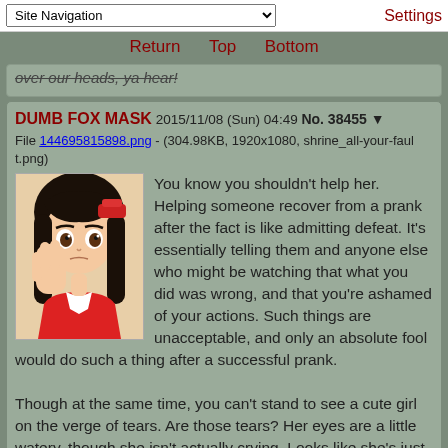Site Navigation [dropdown]    Settings
Return   Top   Bottom
over our heads, ya hear?
DUMB FOX MASK 2015/11/08 (Sun) 04:49 No. 38455 ▼
File 144695815898.png - (304.98KB, 1920x1080, shrine_all-your-fault.png)
[Figure (illustration): Anime girl with dark hair holding something red near her face, looking distressed]
You know you shouldn't help her. Helping someone recover from a prank after the fact is like admitting defeat. It's essentially telling them and anyone else who might be watching that what you did was wrong, and that you're ashamed of your actions. Such things are unacceptable, and only an absolute fool would do such a thing after a successful prank.

Though at the same time, you can't stand to see a cute girl on the verge of tears. Are those tears? Her eyes are a little watery, though she isn't actually crying. Looks like she's just considering it right now.